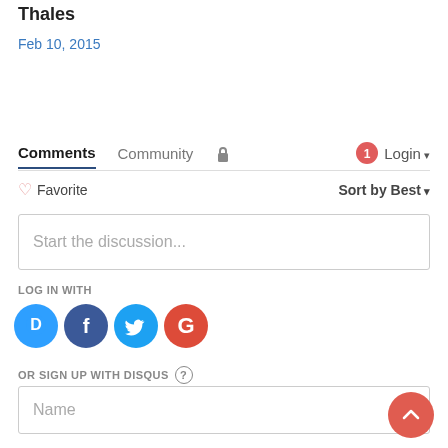Thales
Feb 10, 2015
Comments  Community  🔒  1  Login ▾
♡ Favorite   Sort by Best ▾
Start the discussion...
LOG IN WITH
[Figure (logo): Social login icons: Disqus (blue D speech bubble), Facebook (dark blue F circle), Twitter (light blue bird circle), Google (red G circle)]
OR SIGN UP WITH DISQUS ?
Name